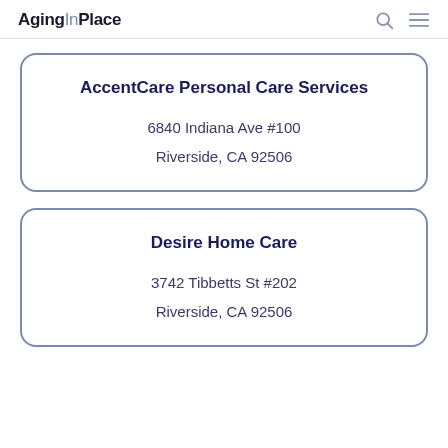AgingInPlace
AccentCare Personal Care Services
6840 Indiana Ave #100
Riverside, CA 92506
Desire Home Care
3742 Tibbetts St #202
Riverside, CA 92506